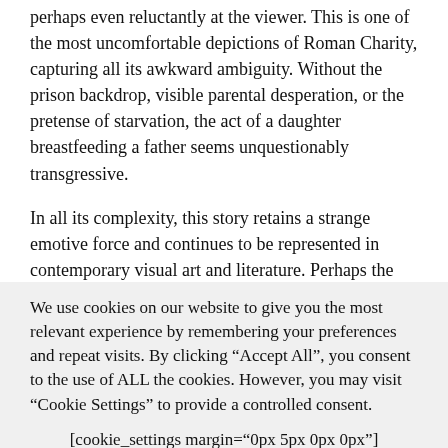perhaps even reluctantly at the viewer. This is one of the most uncomfortable depictions of Roman Charity, capturing all its awkward ambiguity. Without the prison backdrop, visible parental desperation, or the pretense of starvation, the act of a daughter breastfeeding a father seems unquestionably transgressive.
In all its complexity, this story retains a strange emotive force and continues to be represented in contemporary visual art and literature. Perhaps the most famous recent reanimation of this ancient story is in the final
We use cookies on our website to give you the most relevant experience by remembering your preferences and repeat visits. By clicking “Accept All”, you consent to the use of ALL the cookies. However, you may visit “Cookie Settings” to provide a controlled consent.
[cookie_settings margin="0px 5px 0px 0px"]
[cookie_accept_all]